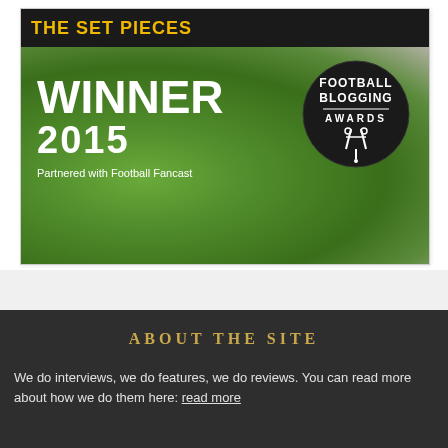[Figure (photo): Football Blogging Awards 2015 Winner banner with green blurred football pitch background, 'THE SET PIECES' title in yellow on black bar at top, 'WINNER 2015' in white large text, 'Partnered with Football Fancast' subtitle, and a circular Football Blogging Awards badge logo on the right]
ABOUT THE SITE
We do interviews, we do features, we do reviews. You can read more about how we do them here: read more